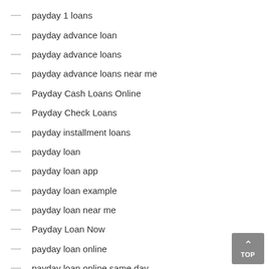payday 1 loans
payday advance loan
payday advance loans
payday advance loans near me
Payday Cash Loans Online
Payday Check Loans
payday installment loans
payday loan
payday loan app
payday loan example
payday loan near me
Payday Loan Now
payday loan online
payday loan online same day
payday loan requirements